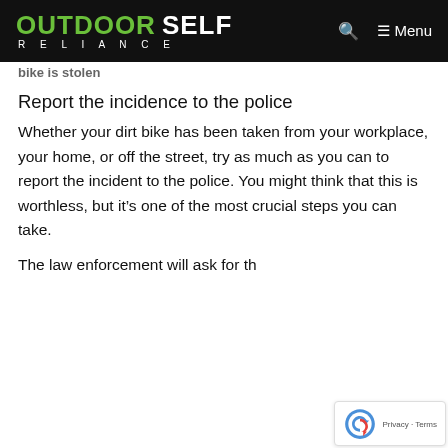OUTDOOR SELF RELIANCE — Menu
Report the incidence to the police
Whether your dirt bike has been taken from your workplace, your home, or off the street, try as much as you can to report the incident to the police. You might think that this is worthless, but it's one of the most crucial steps you can take.
The law enforcement will ask for th